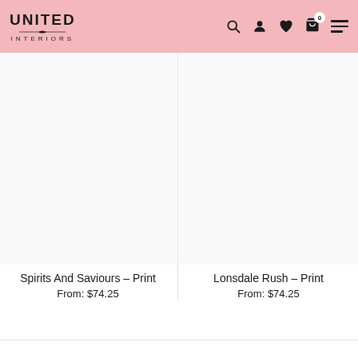UNITED INTERIORS
[Figure (other): White product image placeholder for Spirits And Saviours Print]
Spirits And Saviours – Print
From: $74.25
[Figure (other): White product image placeholder for Lonsdale Rush Print]
Lonsdale Rush – Print
From: $74.25